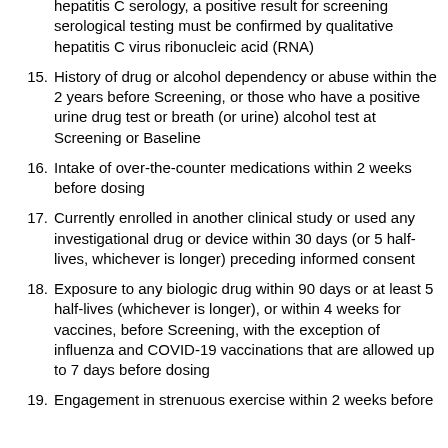hepatitis C serology, a positive result for screening serological testing must be confirmed by qualitative hepatitis C virus ribonucleic acid (RNA)
15. History of drug or alcohol dependency or abuse within the 2 years before Screening, or those who have a positive urine drug test or breath (or urine) alcohol test at Screening or Baseline
16. Intake of over-the-counter medications within 2 weeks before dosing
17. Currently enrolled in another clinical study or used any investigational drug or device within 30 days (or 5 half-lives, whichever is longer) preceding informed consent
18. Exposure to any biologic drug within 90 days or at least 5 half-lives (whichever is longer), or within 4 weeks for vaccines, before Screening, with the exception of influenza and COVID-19 vaccinations that are allowed up to 7 days before dosing
19. Engagement in strenuous exercise within 2 weeks before